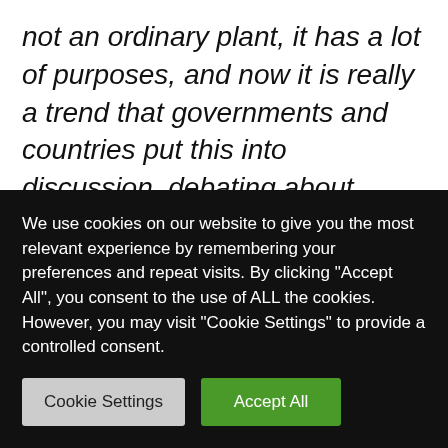not an ordinary plant, it has a lot of purposes, and now it is really a trend that governments and countries put this into discussion, debating about legalizing, regulating, which I think it is very important". The master thesis topic was set, and Danilo spent one month in the Sertão, together with the Quilombolas communities conducting a social investigation about the possibility of replacing cannabis production for narcotic use, with
We use cookies on our website to give you the most relevant experience by remembering your preferences and repeat visits. By clicking "Accept All", you consent to the use of ALL the cookies. However, you may visit "Cookie Settings" to provide a controlled consent.